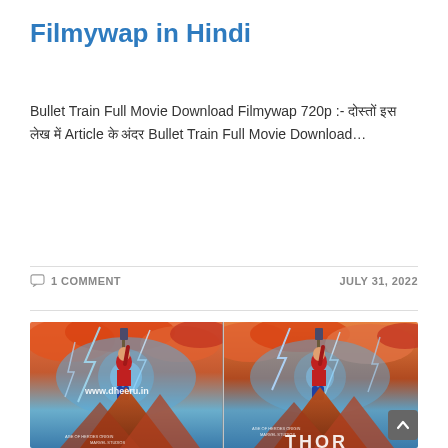Filmywap in Hindi
Bullet Train Full Movie Download Filmywap 720p :- दोस्तों इस लेख में Article के अंदर Bullet Train Full Movie Download…
1 COMMENT   JULY 31, 2022
[Figure (photo): Two side-by-side Thor movie posters showing a superhero character holding a hammer aloft on a rocky mountain peak with lightning and storm clouds in the background. A watermark reads www.dheeru.in. Text at the bottom reads THOR and MARVEL STUDIOS.]